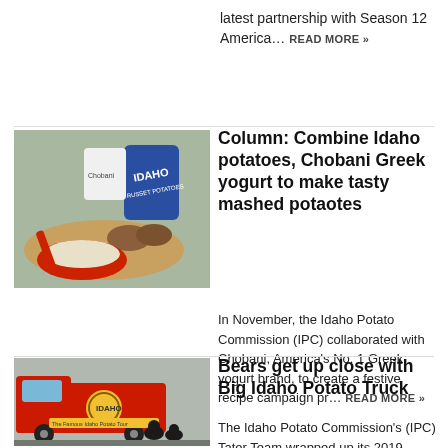latest partnership with Season 12 America… READ MORE »
[Figure (photo): Idaho potatoes and Chobani Greek yogurt with a bowl of mashed potatoes on a cutting board]
Column: Combine Idaho potatoes, Chobani Greek yogurt to make tasty mashed potaotes
In November, the Idaho Potato Commission (IPC) collaborated with Chobani, America's No. 1 Greek yogurt brand, to create a festive recipe campaign pr… READ MORE »
[Figure (photo): Red Big Idaho Potato Truck with bears nearby]
Bears get up close with Big Idaho Potato Truck
The Idaho Potato Commission's (IPC) Tater Team wrapped up its 2019